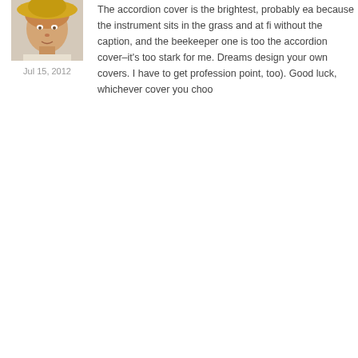[Figure (photo): Profile photo of a woman wearing a yellow hat, partial view at top of page]
Jul 15, 2012
The accordion cover is the brightest, probably ea... because the instrument sits in the grass and at fi... without the caption, and the beekeeper one is too... the accordion cover–it's too stark for me. Dreams... design your own covers. I have to get profession... point, too). Good luck, whichever cover you choo...
[Figure (photo): Profile photo of a woman with long brown hair, smiling]
Jul 15, 2012
POSTED BY LISE MCCLENDON
Thanks, everyone. Keep 'em coming. I am learni...
[Figure (photo): Black and white profile photo of a person wearing a hat]
Jul 15, 2012
POSTED BY SUSAN FLEET
Hi Lise, just tried to leave a comment and the Wo... Love the "mod" cover with the accordion. Simple... stands out. Bravo!